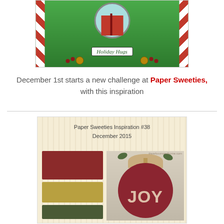[Figure (photo): Close-up photo of a Christmas card with 'Holiday Hugs' label, featuring red and green holiday decorations, jingle bells, berries, and candy cane stripes on a bright green background with a light blue circular element.]
December 1st starts a new challenge at Paper Sweeties, with this inspiration
[Figure (photo): Paper Sweeties Inspiration #38 December 2015 card showing color swatches (dark red/burgundy, gold/mustard, dark green/olive) alongside a photo of a round red JOY door hanger decorated with a burlap bow, gold jingle bells, and greenery.]